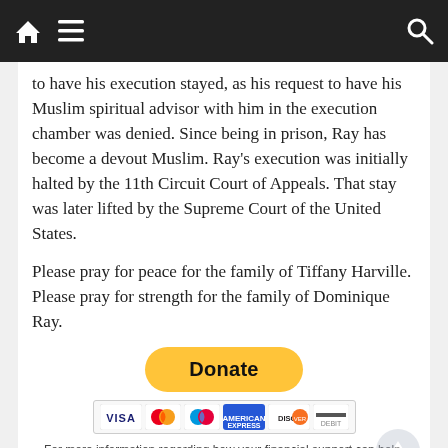Navigation bar with home, menu, and search icons
to have his execution stayed, as his request to have his Muslim spiritual advisor with him in the execution chamber was denied. Since being in prison, Ray has become a devout Muslim. Ray's execution was initially halted by the 11th Circuit Court of Appeals. That stay was later lifted by the Supreme Court of the United States.
Please pray for peace for the family of Tiffany Harville. Please pray for strength for the family of Dominique Ray.
[Figure (other): PayPal Donate button with payment card icons (Visa, Mastercard, Maestro, American Express, Discover, and another card)]
For more information regarding how your financial support can help, please click here.